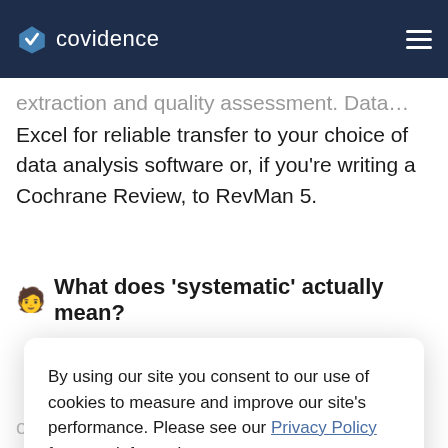covidence
extraction and quality assessment. Data… Excel for reliable transfer to your choice of data analysis software or, if you're writing a Cochrane Review, to RevMan 5.
🧑‍💼 What does 'systematic' actually mean?
By using our site you consent to our use of cookies to measure and improve our site's performance. Please see our Privacy Policy for more information.
Dismiss
of the literature that the author is familiar with